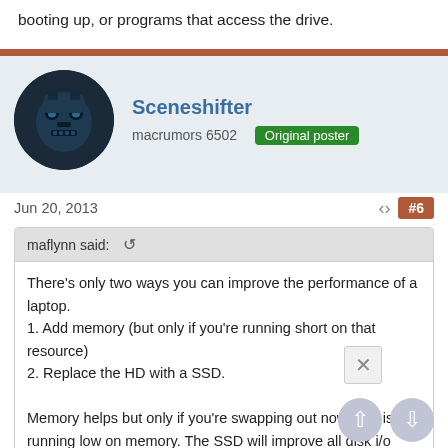booting up, or programs that access the drive.
[Figure (photo): Avatar of user Sceneshifter showing a dark blue robotic/transformer face icon]
Sceneshifter
macrumors 6502  Original poster
Jun 20, 2013
#6
maflynn said:
There's only two ways you can improve the performance of a laptop.
1. Add memory (but only if you're running short on that resource)
2. Replace the HD with a SSD.

Memory helps but only if you're swapping out now, that is running low on memory. The SSD will improve all disk i/o processes like booting up, or programs that access the drive.
Ok perfect, seems like I'll go the SSD route then, I was thinking about that for a while now. Thanks all!